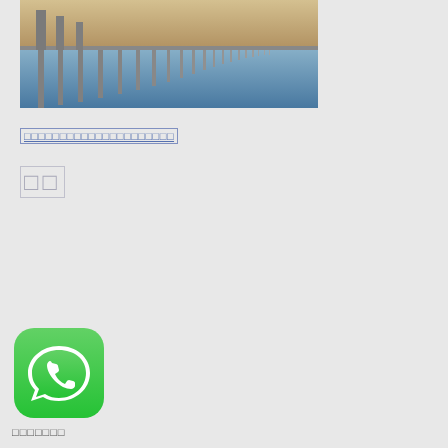[Figure (photo): A long bridge over calm water photographed at golden hour/dusk, with multiple concrete pillars extending into the distance.]
□□□□□□□□□□□□□□□□□□
□□
[Figure (logo): WhatsApp app icon — green rounded square with white phone/chat bubble logo]
□□□□□□□